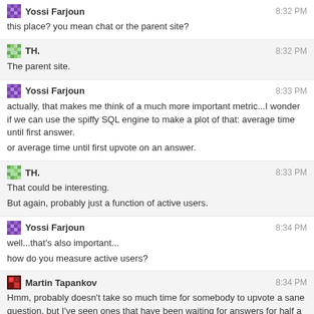Yossi Farjoun 8:32 PM — this place? you mean chat or the parent site?
TH. 8:32 PM — The parent site.
Yossi Farjoun 8:33 PM — actually, that makes me think of a much more important metric...I wonder if we can use the spiffy SQL engine to make a plot of that: average time until first answer. or average time until first upvote on an answer.
TH. 8:33 PM — That could be interesting. But again, probably just a function of active users.
Yossi Farjoun 8:34 PM — well...that's also important... how do you measure active users?
Martin Tapankov 8:34 PM — Hmm, probably doesn't take so much time for somebody to upvote a sane question, but I've seen ones that have been waiting for answers for half a day
Yossi Farjoun 8:34 PM — how active are they?
TH. 8:34 PM — Especially the voting. I vote a lot (I might have had the most votes), but some people